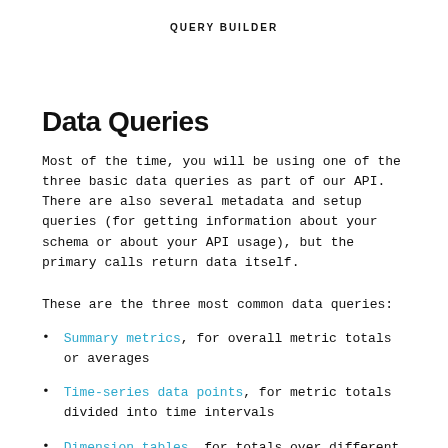QUERY BUILDER
Data Queries
Most of the time, you will be using one of the three basic data queries as part of our API. There are also several metadata and setup queries (for getting information about your schema or about your API usage), but the primary calls return data itself.
These are the three most common data queries:
Summary metrics, for overall metric totals or averages
Time-series data points, for metric totals divided into time intervals
Dimension tables, for totals over different values